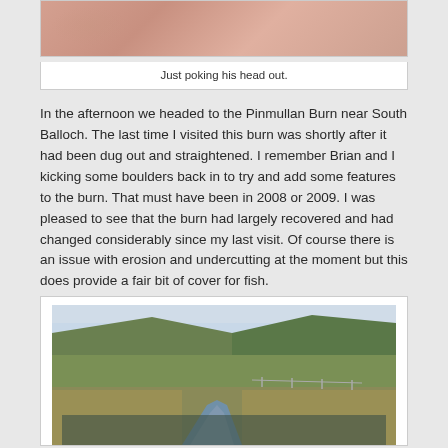[Figure (photo): Close-up photo of a creature (likely a fish or amphibian) just poking its head out, showing pink/skin-toned textured surface with vein-like patterns.]
Just poking his head out.
In the afternoon we headed to the Pinmullan Burn near South Balloch. The last time I visited this burn was shortly after it had been dug out and straightened. I remember Brian and I kicking some boulders back in to try and add some features to the burn. That must have been in 2008 or 2009. I was pleased to see that the burn had largely recovered and had changed considerably since my last visit. Of course there is an issue with erosion and undercutting at the moment but this does provide a fair bit of cover for fish.
[Figure (photo): Landscape photo of the Pinmullan Burn near South Balloch showing a small winding stream through grassy moorland with hills and green fields in the background.]